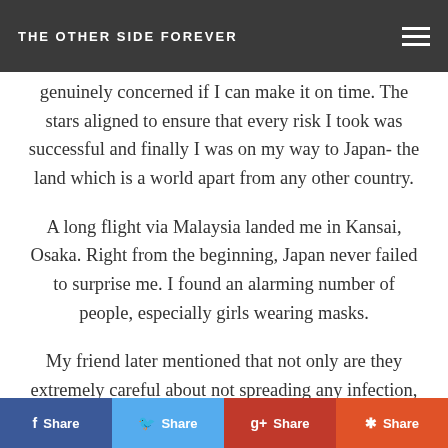THE OTHER SIDE FOREVER
genuinely concerned if I can make it on time. The stars aligned to ensure that every risk I took was successful and finally I was on my way to Japan- the land which is a world apart from any other country.
A long flight via Malaysia landed me in Kansai, Osaka. Right from the beginning, Japan never failed to surprise me. I found an alarming number of people, especially girls wearing masks.
My friend later mentioned that not only are they extremely careful about not spreading any infection, b... e pa... an, fas...!
Share | Share | Share | Share